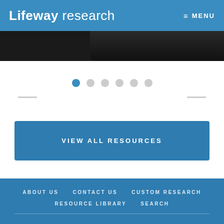Lifeway research  MENU
[Figure (screenshot): Dark image strip showing top of a device/book image]
[Figure (other): Carousel navigation dots — one blue (active), five grey]
VIEW ALL RESOURCES
ABOUT US   CONTACT US   CUSTOM RESEARCH   RESOURCE LIBRARY   SEARCH   Copyright © 2022 · Lifeway Research, a ministry of Lifeway Christian Resources